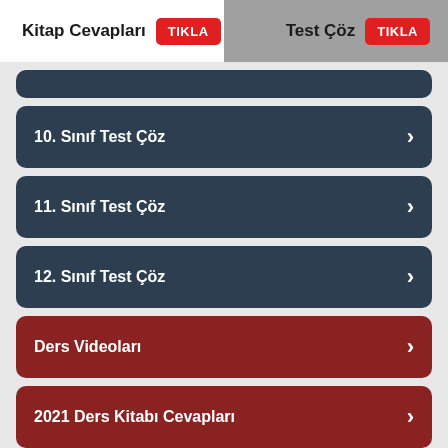Kitap Cevapları TIKLA | Test Çöz TIKLA
10. Sınıf Test Çöz
11. Sınıf Test Çöz
12. Sınıf Test Çöz
Ders Videoları
2021 Ders Kitabı Cevapları
Sanal Müze